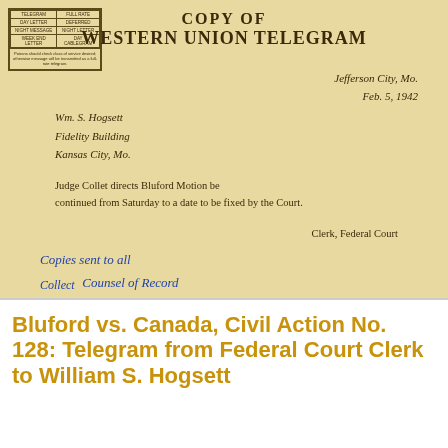[Figure (other): Scanned copy of a Western Union Telegram dated Feb. 5, 1942, from Jefferson City, Mo., addressed to Wm. S. Hogsett, Fidelity Building, Kansas City, Mo. The message reads: Judge Collet directs Bluford Motion be continued from Saturday to a date to be fixed by the Court. Signed: Clerk, Federal Court. Handwritten note: Copies sent to all Counsel of Record. Collect.]
Bluford vs. Canada, Civil Action No. 128: Telegram from Federal Court Clerk to William S. Hogsett